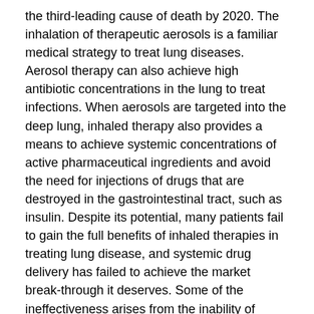the third-leading cause of death by 2020. The inhalation of therapeutic aerosols is a familiar medical strategy to treat lung diseases. Aerosol therapy can also achieve high antibiotic concentrations in the lung to treat infections. When aerosols are targeted into the deep lung, inhaled therapy also provides a means to achieve systemic concentrations of active pharmaceutical ingredients and avoid the need for injections of drugs that are destroyed in the gastrointestinal tract, such as insulin. Despite its potential, many patients fail to gain the full benefits of inhaled therapies in treating lung disease, and systemic drug delivery has failed to achieve the market break-through it deserves. Some of the ineffectiveness arises from the inability of patients to use their therapy correctly. However, achieving aerosol deposition in the lungs is a major challenge even for those patients with good inhaler technique.
The challenge is to produce a portable dosage form containing components that can be redispersed by a patient. Redispersion must be achieved with uniformity of a dose in the form of an aerosol with the properties required for lung penetration. Turning